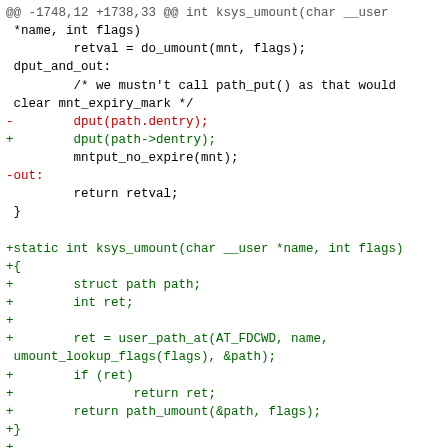Code diff showing ksys_umount and kern_umount function changes